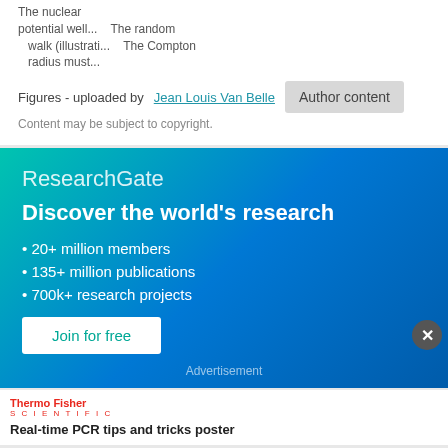The nuclear potential well… The random walk (illustrati… The Compton radius must…
Figures - uploaded by Jean Louis Van Belle
Content may be subject to copyright.
[Figure (infographic): ResearchGate promotional banner with teal-to-blue gradient background. Contains ResearchGate logo text, headline 'Discover the world's research', bullet points listing 20+ million members, 135+ million publications, 700k+ research projects, and a 'Join for free' button. Advertisement label at bottom.]
[Figure (infographic): Thermo Fisher Scientific advertisement showing Real-time PCR tips and tricks poster with a scientific diagram thumbnail on the left.]